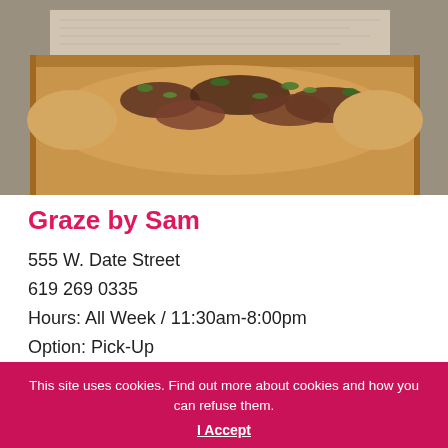[Figure (photo): Person holding a cardboard box containing a flatbread/pizza topped with mushrooms, cheese, and fresh herbs, photographed outdoors on cobblestone pavement]
Graze by Sam
555 W. Date Street
619 269 0335
Hours: All Week / 11:30am-8:00pm
Option: Pick-Up
This site uses cookies. Find out more about cookies and how you can refuse them.
I Accept